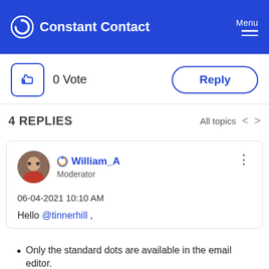Constant Contact — Menu
0 Vote
Reply
4 REPLIES
All topics < >
William_A
Moderator
06-04-2021 10:10 AM
Hello @tinnerhill,
Only the standard dots are available in the email editor.